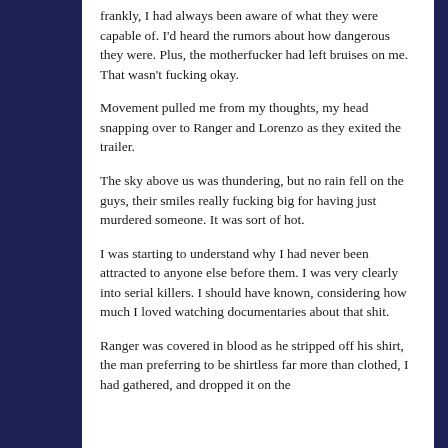frankly, I had always been aware of what they were capable of. I'd heard the rumors about how dangerous they were. Plus, the motherfucker had left bruises on me. That wasn't fucking okay.
Movement pulled me from my thoughts, my head snapping over to Ranger and Lorenzo as they exited the trailer.
The sky above us was thundering, but no rain fell on the guys, their smiles really fucking big for having just murdered someone. It was sort of hot.
I was starting to understand why I had never been attracted to anyone else before them. I was very clearly into serial killers. I should have known, considering how much I loved watching documentaries about that shit.
Ranger was covered in blood as he stripped off his shirt, the man preferring to be shirtless far more than clothed, I had gathered, and dropped it on the